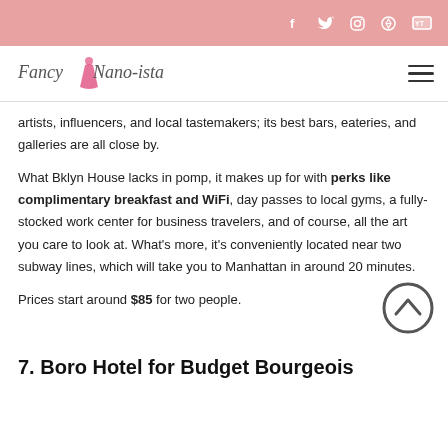Social icons: f, twitter, instagram, pinterest, youtube
[Figure (logo): Fancy Nano-ista blog logo with dress icon]
artists, influencers, and local tastemakers; its best bars, eateries, and galleries are all close by.
What Bklyn House lacks in pomp, it makes up for with perks like complimentary breakfast and WiFi, day passes to local gyms, a fully-stocked work center for business travelers, and of course, all the art you care to look at. What's more, it's conveniently located near two subway lines, which will take you to Manhattan in around 20 minutes.
Prices start around $85 for two people.
7. Boro Hotel for Budget Bourgeois